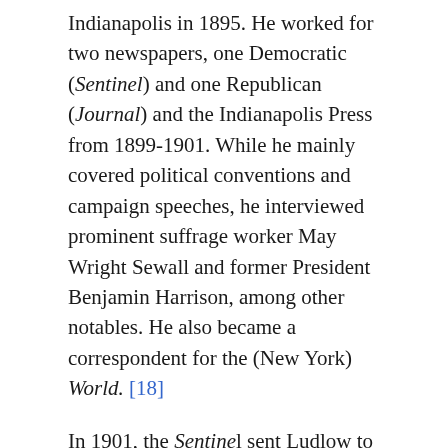Indianapolis in 1895. He worked for two newspapers, one Democratic (Sentinel) and one Republican (Journal) and the Indianapolis Press from 1899-1901. While he mainly covered political conventions and campaign speeches, he interviewed prominent suffrage worker May Wright Sewall and former President Benjamin Harrison, among other notables. He also became a correspondent for the (New York) World. [18]
In 1901, the Sentinel sent Ludlow to Washington as a correspondent, beginning a twenty-seven-year career of covering the capital. During this time, he worked long hours, expanded his political contacts, and distributed